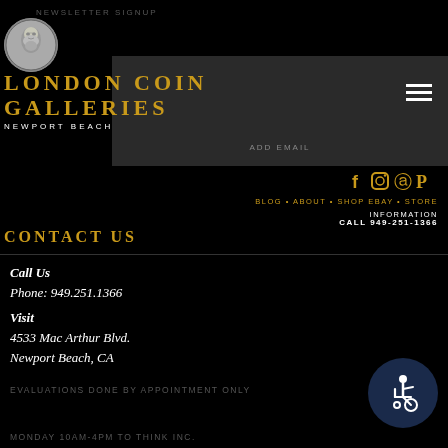NEWSLETTER SIGNUP
[Figure (logo): London Coin Galleries circular logo with classical face engraving]
LONDON COIN GALLERIES
NEWPORT BEACH
ADD EMAIL
[Figure (infographic): Social media icons: Facebook, Instagram, Pinterest, PayPal in gold]
BLOG • ABOUT • SHOP EBAY • STORE INFORMATION
CALL 949-251-1366
CONTACT US
Call Us
Phone: 949.251.1366
Visit
4533 Mac Arthur Blvd.
Newport Beach, CA
EVALUATIONS DONE BY APPOINTMENT ONLY
MONDAY 10AM-4PM TO THINK INC.
[Figure (illustration): Accessibility wheelchair icon button in dark navy circle]